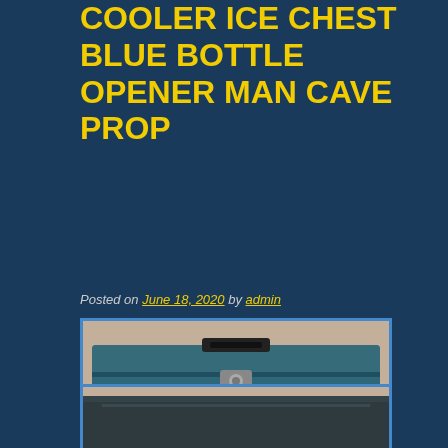COOLER ICE CHEST BLUE BOTTLE OPENER MAN CAVE PROP
Posted on June 18, 2020 by admin
[Figure (photo): Photo of a vintage Coleman blue steel ice chest cooler with eBay watermark, sitting on a beige carpet background]
[Figure (photo): Partial photo of the top/lid of the Coleman blue steel cooler, showing the dark lid close-up]